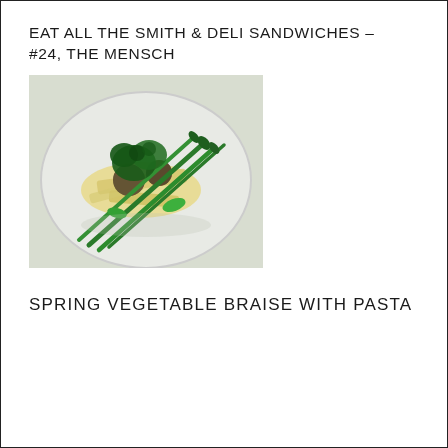EAT ALL THE SMITH & DELI SANDWICHES – #24, THE MENSCH
[Figure (photo): A white plate with pasta, asparagus, broccolini, and other braised spring vegetables on a light background.]
SPRING VEGETABLE BRAISE WITH PASTA